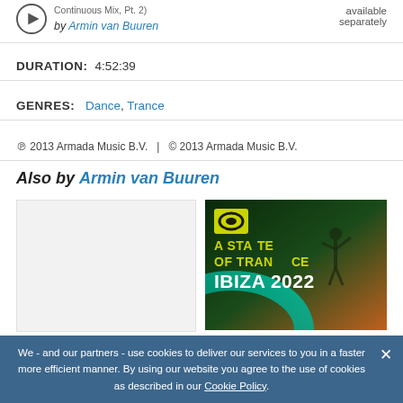Continuous Mix, Pt. 2) by Armin van Buuren — available separately
DURATION:  4:52:39
GENRES:  Dance, Trance
℗ 2013 Armada Music B.V.  |  © 2013 Armada Music B.V.
Also by Armin van Buuren
[Figure (photo): White/blank album artwork placeholder]
[Figure (photo): A State Of Trance Ibiza 2022 album cover with yellow-green logo and performer silhouette]
We - and our partners - use cookies to deliver our services to you in a faster more efficient manner. By using our website you agree to the use of cookies as described in our Cookie Policy.